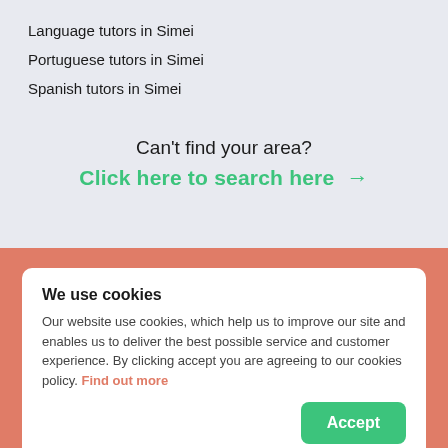Language tutors in Simei
Portuguese tutors in Simei
Spanish tutors in Simei
Can't find your area?
Click here to search here →
We use cookies
Our website use cookies, which help us to improve our site and enables us to deliver the best possible service and customer experience. By clicking accept you are agreeing to our cookies policy. Find out more
Accept